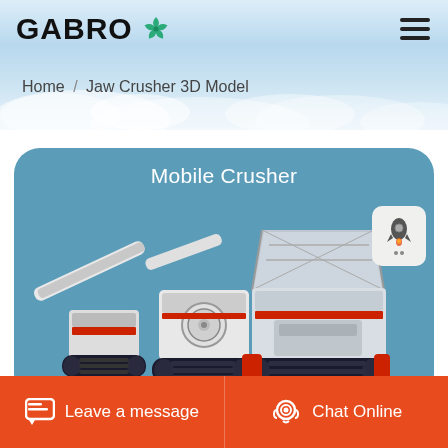[Figure (logo): GABRO logo with green pinwheel/fan icon]
Home / Jaw Crusher 3D Model
[Figure (photo): 3D render of Mobile Crusher equipment on a blue-grey background inside a rounded rectangle card. Shows two tracked mobile crushing units connected by conveyors. Title text 'Mobile Crusher' appears at top of card.]
Leave a message   Chat Online